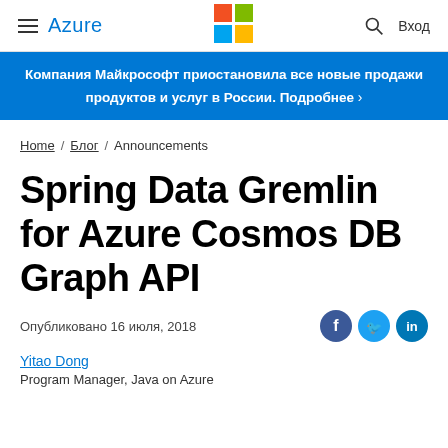≡ Azure | [Microsoft logo] | 🔍 Вход
Компания Майкрософт приостановила все новые продажи продуктов и услуг в России. Подробнее ›
Home / Блог / Announcements
Spring Data Gremlin for Azure Cosmos DB Graph API
Опубликовано 16 июля, 2018
Yitao Dong
Program Manager, Java on Azure